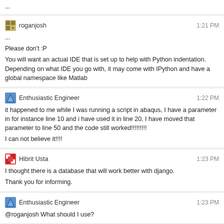Please don't :P
You will want an actual IDE that is set up to help with Python indentation. Depending on what IDE you go with, it may come with IPython and have a global namespace like Matlab
it happened to me while I was running a script in abaqus, I have a parameter in for instance line 10 and i have used it in line 20, I have moved that parameter to line 50 and the code still worked!!!!!!!!! I can not believe it!!!!
I thought there is a database that will work better with django.

Thank you for informing.
@roganjosh What should I use?
@HibritUsta realistically you're probably looking at MYSQL or postgres, but you can use others
@EnthusiasticEngineer If you're coming from matlab then Spyder (which comes with Anaconda) might be most familiar. But there's also Pycharm and many others
Kevin  1:26 PM